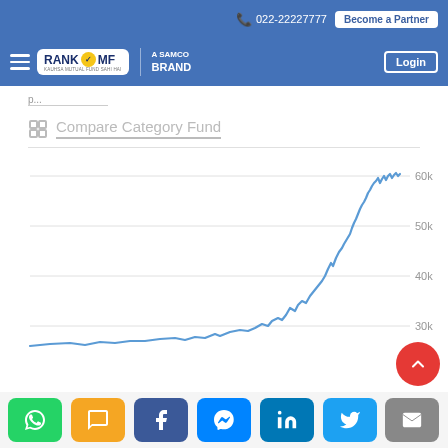022-22227777 | Become a Partner | Login
[Figure (logo): RANKMF - A SAMCO BRAND logo in navigation bar]
Compare Category Fund
[Figure (line-chart): Line chart showing fund value growth over time, rising from ~25k to ~62k, with y-axis labels at 30k, 40k, 50k, 60k. The line rises steeply toward the right end.]
[Figure (infographic): Bottom social sharing bar with WhatsApp (green), SMS (yellow), Facebook (dark blue), Messenger (blue), LinkedIn (teal-blue), Twitter (light blue), Email (gray) buttons. Red scroll-to-top FAB button.]